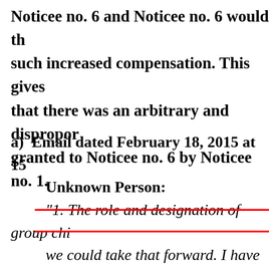Noticee no. 6 and Noticee no. 6 would th such increased compensation. This gives that there was an arbitrary and dispropor granted to Noticee no. 6 by Noticee no. 1.
a) Email dated February 18, 2015 at 15 Unknown Person: “1. The role and designation of group chi we could take that forward. I have a small Group president and chief coordination o You direct we can [redacted] ti redesignate him a [redacted] r forward on this Su [redacted] If this meets with [redacted] a as group President, Finance, and stak